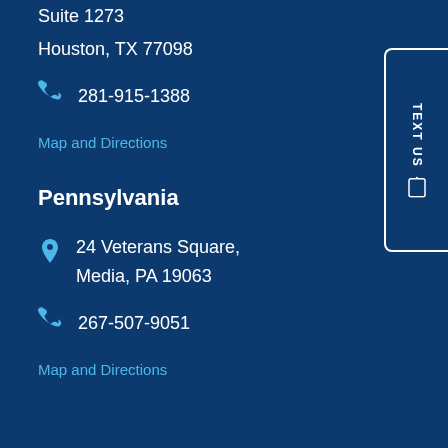Suite 1273
Houston, TX 77098
281-915-1388
Map and Directions
Pennsylvania
24 Veterans Square, Media, PA 19063
267-507-9051
Map and Directions